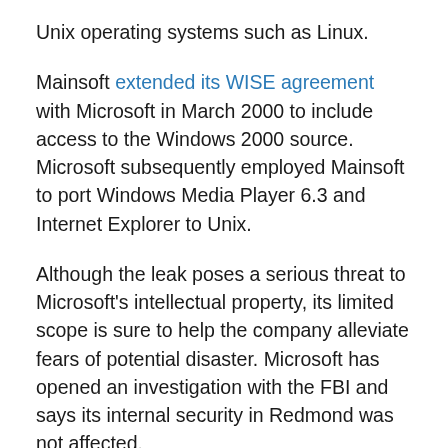Unix operating systems such as Linux.
Mainsoft extended its WISE agreement with Microsoft in March 2000 to include access to the Windows 2000 source. Microsoft subsequently employed Mainsoft to port Windows Media Player 6.3 and Internet Explorer to Unix.
Although the leak poses a serious threat to Microsoft's intellectual property, its limited scope is sure to help the company alleviate fears of potential disaster. Microsoft has opened an investigation with the FBI and says its internal security in Redmond was not affected.
Because Mainsoft used only select portions of the Windows source for MainWin, Microsoft may find itself more worried about the egg on its face than possible exposure of its flagship operating system; Windows 2000 served as the foundation for Windows XP and